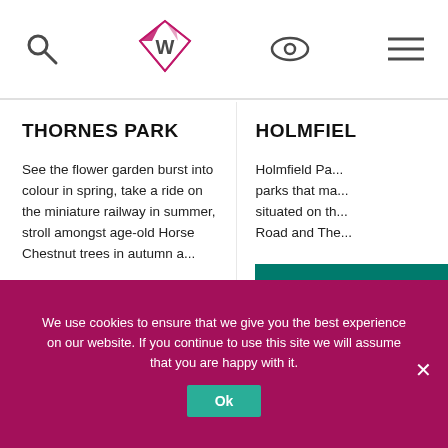[Header with search icon, W logo, eye icon, menu icon]
THORNES PARK
See the flower garden burst into colour in spring, take a ride on the miniature railway in summer, stroll amongst age-old Horse Chestnut trees in autumn a...
READ MORE
HOLMFIEL...
Holmfield Pa... parks that ma... situated on th... Road and The...
READ MO...
We use cookies to ensure that we give you the best experience on our website. If you continue to use this site we will assume that you are happy with it.
Ok